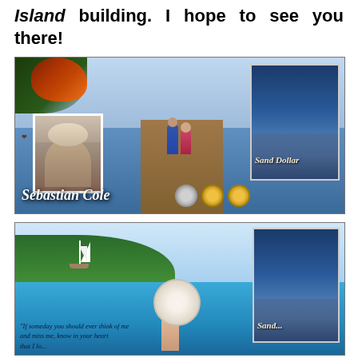Island building. I hope to see you there!
[Figure (photo): Promotional banner for author Sebastian Cole featuring a dock scene with two people sitting at the end, a lake backdrop, autumn tree, the author's headshot, book cover for 'Sand Dollar', and award medals.]
[Figure (photo): Second promotional banner showing a sailboat on a blue lake, a hand holding a sand dollar, a book cover, and cursive script text reading 'If someday you should ever think of me and miss me, know in your heart that I...'.]